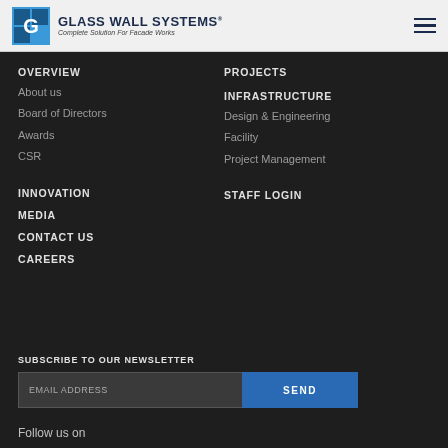[Figure (logo): Glass Wall Systems logo with blue G square icon and company name with tagline 'Complete Solution For Facade Works']
OVERVIEW
About us
Board of Directors
Awards
CSR
PROJECTS
INFRASTRUCTURE
Design & Engineering
Facility
Project Management
INNOVATION
STAFF LOGIN
MEDIA
CONTACT US
CAREERS
SUBSCRIBE TO OUR NEWSLETTER
EMAIL ADDRESS
SEND
Follow us on